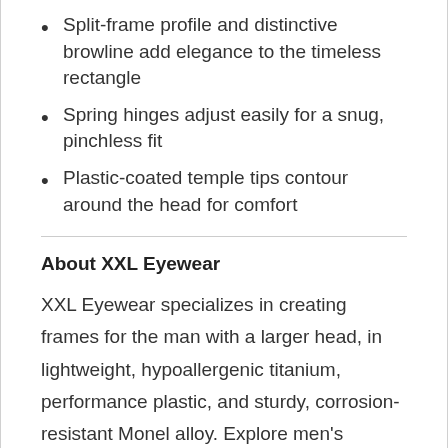Split-frame profile and distinctive browline add elegance to the timeless rectangle
Spring hinges adjust easily for a snug, pinchless fit
Plastic-coated temple tips contour around the head for comfort
About XXL Eyewear
XXL Eyewear specializes in creating frames for the man with a larger head, in lightweight, hypoallergenic titanium, performance plastic, and sturdy, corrosion-resistant Monel alloy. Explore men's eyewear styles by XXL to find wider eye, bridge, and temple sizes for a comfortable slip- and pinch-free fit. XXL frames offer the same refined